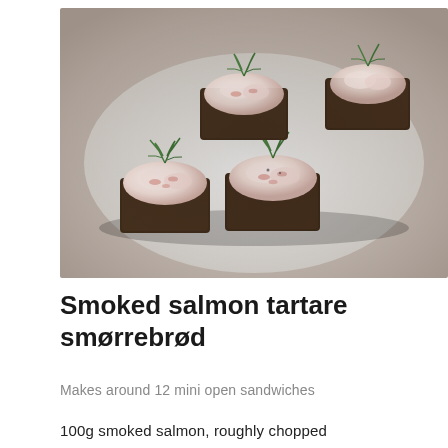[Figure (photo): Photo of smoked salmon tartare smørrebrød — small pieces of dark rye bread topped with creamy salmon mixture and garnished with fresh dill, arranged on a white plate]
Smoked salmon tartare smørrebrød
Makes around 12 mini open sandwiches
100g smoked salmon, roughly chopped